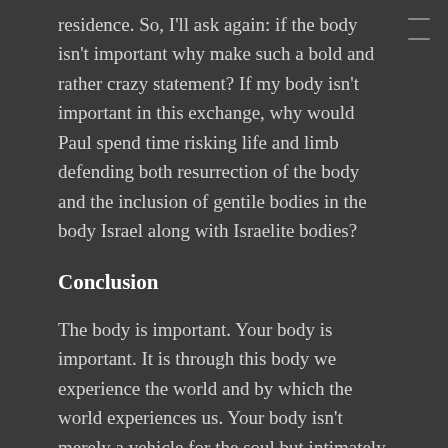residence. So, I'll ask again: if the body isn't important why make such a bold and rather crazy statement? If my body isn't important in this exchange, why would Paul spend time risking life and limb defending both resurrection of the body and the inclusion of gentile bodies in the body Israel along with Israelite bodies?
Conclusion
The body is important. Your body is important. It is through this body we experience the world and by which the world experiences us. Your body isn't merely a vehicle for the soul but intimately and materially bound up with it. It is through this body time surges and courses leaving behind reminders of endurance. It is in the body where the declaration of holy resides; you in your body are the holy temple of the holy spirit; thus to desecrate this temple of